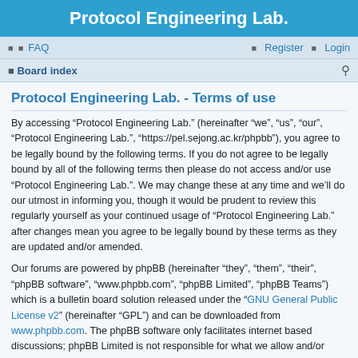Protocol Engineering Lab.
FAQ  Register  Login
Board index
Protocol Engineering Lab. - Terms of use
By accessing “Protocol Engineering Lab.” (hereinafter “we”, “us”, “our”, “Protocol Engineering Lab.”, “https://pel.sejong.ac.kr/phpbb”), you agree to be legally bound by the following terms. If you do not agree to be legally bound by all of the following terms then please do not access and/or use “Protocol Engineering Lab.”. We may change these at any time and we’ll do our utmost in informing you, though it would be prudent to review this regularly yourself as your continued usage of “Protocol Engineering Lab.” after changes mean you agree to be legally bound by these terms as they are updated and/or amended.
Our forums are powered by phpBB (hereinafter “they”, “them”, “their”, “phpBB software”, “www.phpbb.com”, “phpBB Limited”, “phpBB Teams”) which is a bulletin board solution released under the “GNU General Public License v2” (hereinafter “GPL”) and can be downloaded from www.phpbb.com. The phpBB software only facilitates internet based discussions; phpBB Limited is not responsible for what we allow and/or disallow as permissible content and/or conduct. For further information about phpBB, please see: https://www.phpbb.com/.